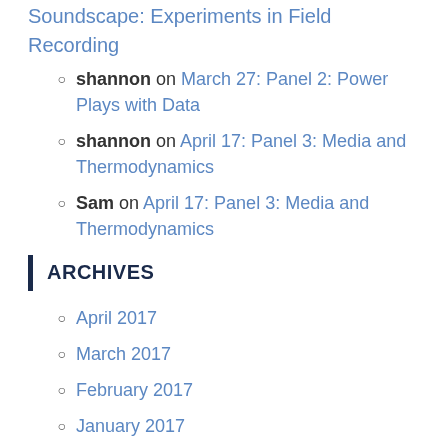Soundscape: Experiments in Field Recording
shannon on March 27: Panel 2: Power Plays with Data
shannon on April 17: Panel 3: Media and Thermodynamics
Sam on April 17: Panel 3: Media and Thermodynamics
ARCHIVES
April 2017
March 2017
February 2017
January 2017
CATEGORIES
Class Announcements
Class Sessions